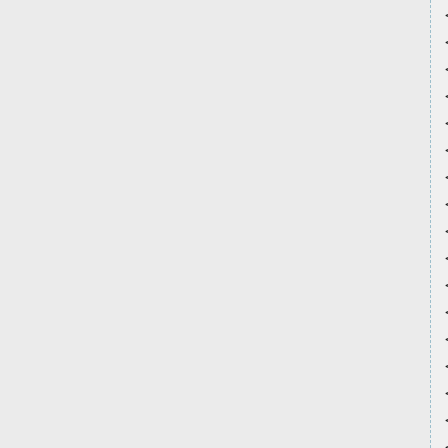<Category>multimedia</Category>
<Category>automotive</Category>
<Category>books and reference</Category>
<Category>lifestyle</Category>
<Category>kids</Category>
<Category>gambling</Category>
<Category>education</Category>
<Category>news and weather</Category>
<Category>communications</Category>
<Category>entertainment</Category>
<Category>financial services</Category>
<Category>health and fitness</Category>
<Category>shopping and retail</Category>
<Category>social</Category>
<Category>sports</Category>
<Category>travel and local</Category>
<Creative>
  <Id>177192</Id>
  <Name>300X250_black_animated.gif
  <CreativeLink>
    http://76b3ceeab4c855fb9953-$be
  </CreativeLink>
  <CreativeType>FullScreen</CreativeType>
  <CreativeSize>300x250</CreativeSize>
</Creative>
<Creative>
  <Id>106245</Id>